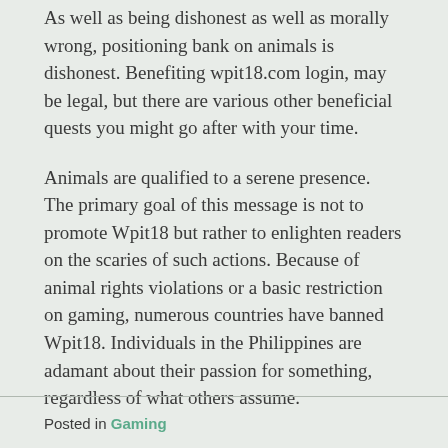As well as being dishonest as well as morally wrong, positioning bank on animals is dishonest. Benefiting wpit18.com login, may be legal, but there are various other beneficial quests you might go after with your time.
Animals are qualified to a serene presence. The primary goal of this message is not to promote Wpit18 but rather to enlighten readers on the scaries of such actions. Because of animal rights violations or a basic restriction on gaming, numerous countries have banned Wpit18. Individuals in the Philippines are adamant about their passion for something, regardless of what others assume.
Posted in Gaming